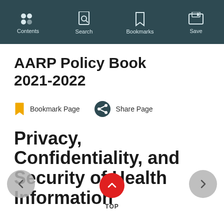Contents  Search  Bookmarks  Save
AARP Policy Book 2021-2022
Bookmark Page   Share Page
Privacy, Confidentiality, and Security of Health Information